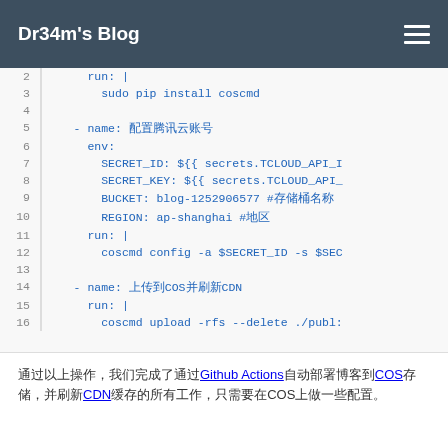Dr34m's Blog
[Figure (screenshot): Code block showing YAML GitHub Actions workflow snippet with line numbers 2-16. Lines include: run pip install coscmd, env variables SECRET_ID, SECRET_KEY, BUCKET, REGION, run coscmd config, and coscmd upload commands.]
通过以上操作，我们完成了通过Github Actions自动部署博客到COS存储，并刷新CDN缓存的所有工作，只需要在COS上做一些配置。